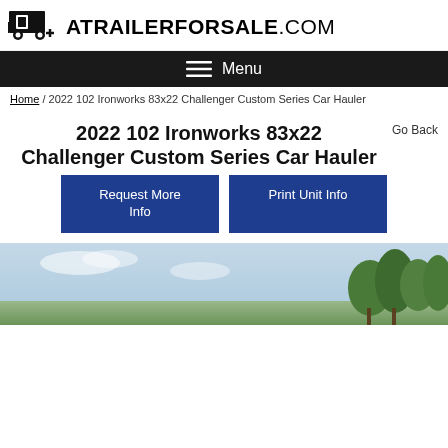ATRAILERFORSALE.COM
Menu
Home / 2022 102 Ironworks 83x22 Challenger Custom Series Car Hauler
2022 102 Ironworks 83x22 Challenger Custom Series Car Hauler
Go Back
Request More Info
Print Unit Info
[Figure (photo): Outdoor photo showing a trailer or vehicle against a sky with trees in the background]